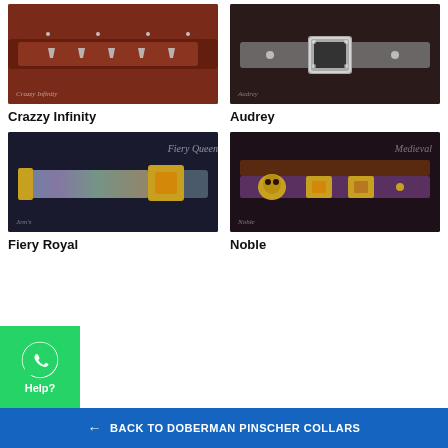[Figure (photo): Crazzy Infinity dog collar - red leather with silver pyramid studs]
Crazzy Infinity
[Figure (photo): Audrey dog collar - silver/grey with large black square gemstone buckle]
Audrey
[Figure (photo): Fiery Royal dog collar - iridescent blue-green scale pattern with amber gemstone]
Fiery Royal
[Figure (photo): Noble dog collar - dark purple/brown with skull charm and amber gemstones]
Noble
[Figure (infographic): WhatsApp Help button - green square with WhatsApp logo and Help? text]
← BACK TO DOBERMAN PINSCHER COLLARS